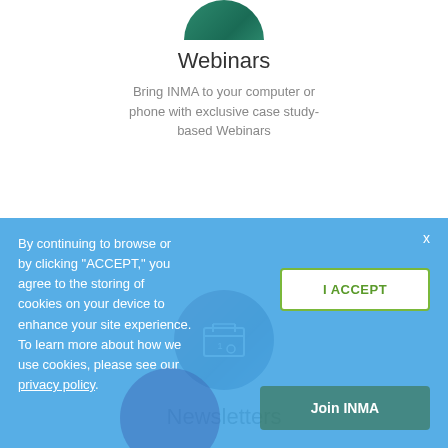[Figure (illustration): Partial circular icon with green background representing Webinars, cropped at top]
Webinars
Bring INMA to your computer or phone with exclusive case study-based Webinars
[Figure (illustration): Circular photo with dark purple/blue background and a calendar icon overlay representing Newsletters]
Newsletters
By continuing to browse or by clicking “ACCEPT,” you agree to the storing of cookies on your device to enhance your site experience. To learn more about how we use cookies, please see our privacy policy.